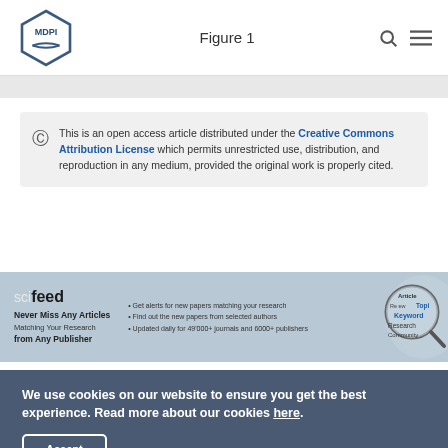Figure 1
This is an open access article distributed under the Creative Commons Attribution License which permits unrestricted use, distribution, and reproduction in any medium, provided the original work is properly cited.
[Figure (infographic): SciFeed banner advertisement: 'Never Miss Any Articles Matching Your Research from Any Publisher. Get alerts for new papers matching your research. Find out the new papers from selected authors. Updated daily for 49000+ journals and 6000+ publishers.' with a magnifying glass graphic showing article/author/keyword/topic/research community tags.]
We use cookies on our website to ensure you get the best experience. Read more about our cookies here.
Accept